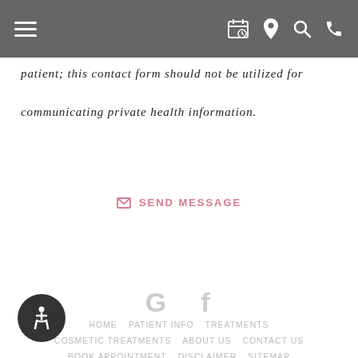[hamburger menu icon] [calendar icon] [location icon] [search icon] [phone icon]
patient; this contact form should not be utilized for communicating private health information.
✉ SEND MESSAGE
[Figure (logo): Google G icon and Facebook f icon in light gray]
HOME  PATIENT INFO  TREATMENTS  COSMETIC TREATMENTS  ABOUT US  CONTACT US  BOOK APPOINTMENT  DISCLAIMER  SITEMAP  Dental Website Design by PBHS © 2022
[Figure (illustration): Accessibility icon: white wheelchair symbol in dark circle]